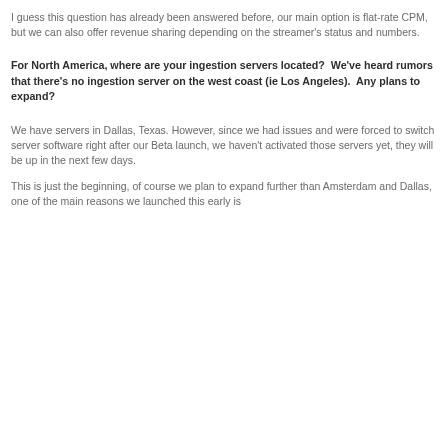I guess this question has already been answered before, our main option is flat-rate CPM, but we can also offer revenue sharing depending on the streamer's status and numbers.
For North America, where are your ingestion servers located?  We've heard rumors that there's no ingestion server on the west coast (ie Los Angeles).  Any plans to expand?
We have servers in Dallas, Texas. However, since we had issues and were forced to switch server software right after our Beta launch, we haven't activated those servers yet, they will be up in the next few days.
This is just the beginning, of course we plan to expand further than Amsterdam and Dallas, one of the main reasons we launched this early is